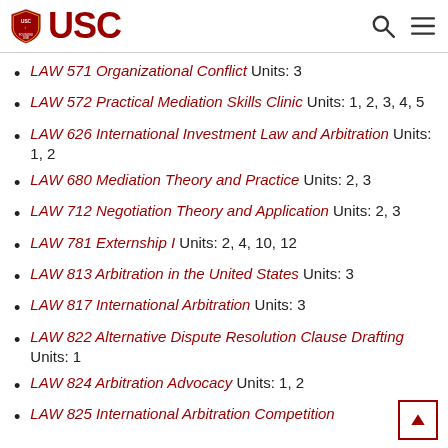USC
LAW 571 Organizational Conflict Units: 3
LAW 572 Practical Mediation Skills Clinic Units: 1, 2, 3, 4, 5
LAW 626 International Investment Law and Arbitration Units: 1, 2
LAW 680 Mediation Theory and Practice Units: 2, 3
LAW 712 Negotiation Theory and Application Units: 2, 3
LAW 781 Externship I Units: 2, 4, 10, 12
LAW 813 Arbitration in the United States Units: 3
LAW 817 International Arbitration Units: 3
LAW 822 Alternative Dispute Resolution Clause Drafting Units: 1
LAW 824 Arbitration Advocacy Units: 1, 2
LAW 825 International Arbitration Competition